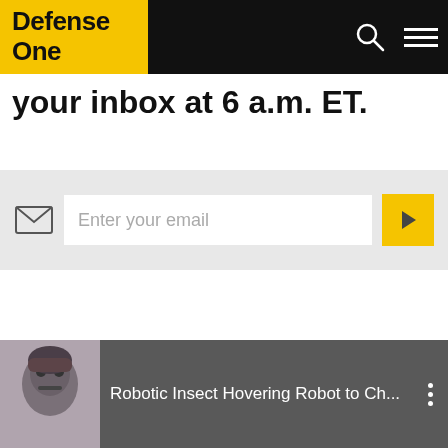Defense One
your inbox at 6 a.m. ET.
Enter your email
[Figure (screenshot): Video thumbnail showing a robotic face/insect hovering robot with title 'Robotic Insect Hovering Robot to Ch...']